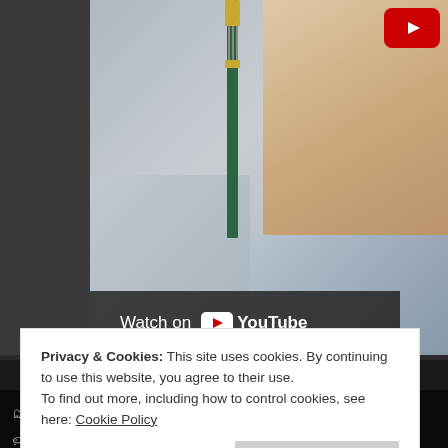[Figure (screenshot): YouTube video thumbnail showing a woman singing into a microphone with 'Watch on YouTube' overlay bar and YouTube play button in top right corner]
Posted in Floor Jansen, News
Tagged Ave Maria, cover song, Floor Jansen, Franz Schubert, new video, Nightwish, Rock, Tommy Johansson
Privacy & Cookies: This site uses cookies. By continuing to use this website, you agree to their use.
To find out more, including how to control cookies, see here: Cookie Policy
Close and accept